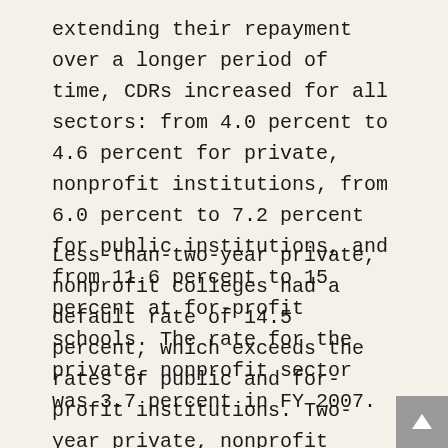extending their repayment over a longer period of time, CDRs increased for all sectors: from 4.0 percent to 4.6 percent for private, nonprofit institutions, from 6.0 percent to 7.2 percent for public institutions, and from 11.6 percent to 15 percent at for-profit schools. The rate for the private, nonprofit sector was 3.7 percent in FY 2007.
Less-than-two-year private, nonprofit colleges had a default rate of 14.5 percent, which exceeds the rates of public and for-profit institutions. Two-year private, nonprofit colleges, with a rate of 10 percent, are lower than either.